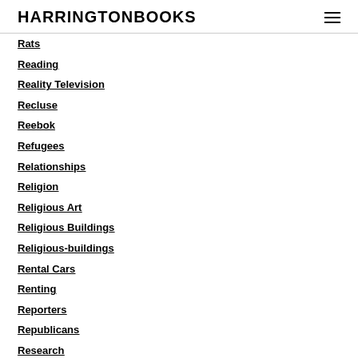HARRINGTONBOOKS
Rats
Reading
Reality Television
Recluse
Reebok
Refugees
Relationships
Religion
Religious Art
Religious Buildings
Religious-buildings
Rental Cars
Renting
Reporters
Republicans
Research
Restaurant Review